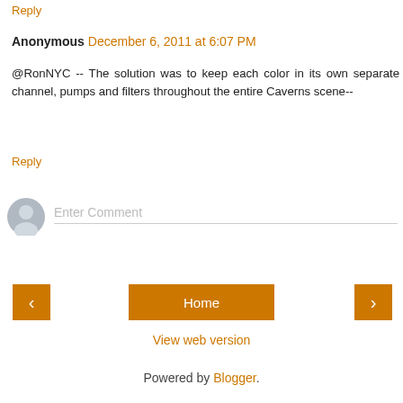Reply
Anonymous  December 6, 2011 at 6:07 PM
@RonNYC -- The solution was to keep each color in its own separate channel, pumps and filters throughout the entire Caverns scene--
Reply
[Figure (illustration): User avatar placeholder circle icon]
Enter Comment
< (back navigation button)
Home
> (forward navigation button)
View web version
Powered by Blogger.